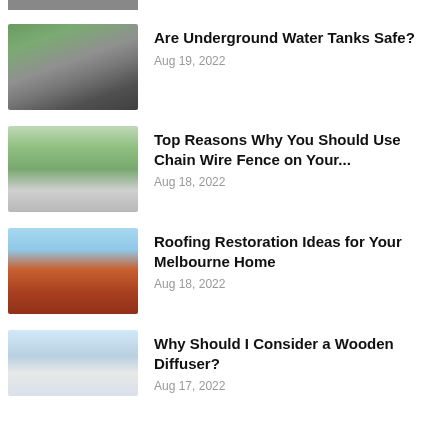[Figure (photo): Partial top thumbnail of a dark object, cropped]
[Figure (photo): Underground water tank, grey ribbed cylindrical tank on green grass background]
Are Underground Water Tanks Safe?
Aug 19, 2022
[Figure (photo): Chain wire fence with metal posts on green grass with house in background]
Top Reasons Why You Should Use Chain Wire Fence on Your...
Aug 18, 2022
[Figure (photo): Orange/terracotta tiled roof against blue sky]
Roofing Restoration Ideas for Your Melbourne Home
Aug 18, 2022
[Figure (photo): Interior room with wooden diffuser, blue cushions, partial view]
Why Should I Consider a Wooden Diffuser?
Aug 17, 2022